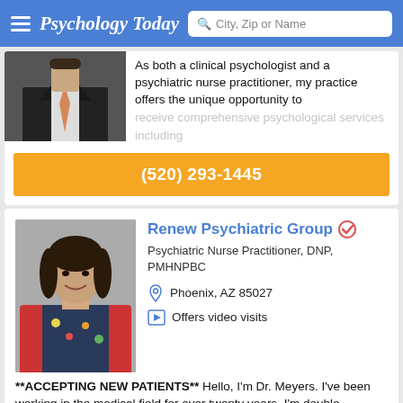Psychology Today — City, Zip or Name search
[Figure (photo): Partial photo of a man in dark suit with orange tie, cropped at top]
As both a clinical psychologist and a psychiatric nurse practitioner, my practice offers the unique opportunity to receive comprehensive psychological services including
(520) 293-1445
[Figure (photo): Photo of a woman with dark hair, wearing a red cardigan over a floral top, smiling, grey background]
Renew Psychiatric Group
Psychiatric Nurse Practitioner, DNP, PMHNPBC
Phoenix, AZ 85027
Offers video visits
**ACCEPTING NEW PATIENTS** Hello, I'm Dr. Meyers. I've been working in the medical field for over twenty years. I'm double-